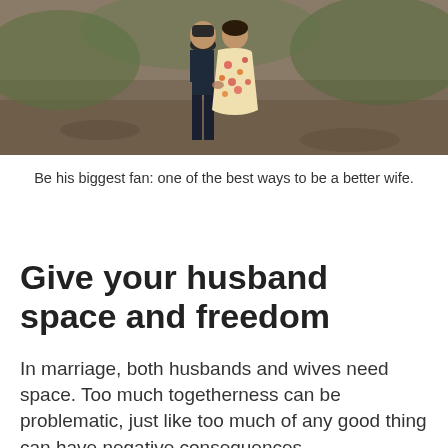[Figure (photo): A couple standing together outdoors in a wooded/natural setting. One person wears a floral dress, the other dark clothing. They appear to be holding hands or embracing.]
Be his biggest fan: one of the best ways to be a better wife.
Give your husband space and freedom
In marriage, both husbands and wives need space. Too much togetherness can be problematic, just like too much of any good thing can have negative consequences.
Are you giving your husband the space he needs in his life? This can be actual space and time, such as being cool with him going